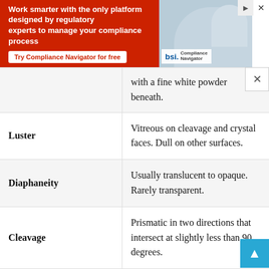[Figure (other): Advertisement banner for BSI Compliance Navigator with red background and text 'Work smarter with the only platform designed by regulatory experts to manage your compliance process' and a 'Try Compliance Navigator for free' button]
| Property | Description |
| --- | --- |
|  | with a fine white powder beneath. |
| Luster | Vitreous on cleavage and crystal faces. Dull on other surfaces. |
| Diaphaneity | Usually translucent to opaque. Rarely transparent. |
| Cleavage | Prismatic in two directions that intersect at slightly less than 90 degrees. |
| Mohs Hardness | 5.5 to 6 |
| Specific Gravity | 3.2 to 3.6 |